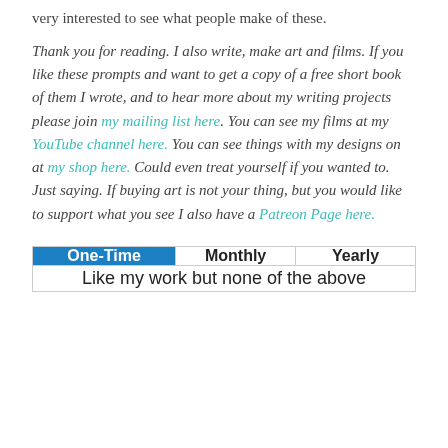very interested to see what people make of these.
Thank you for reading. I also write, make art and films. If you like these prompts and want to get a copy of a free short book of them I wrote, and to hear more about my writing projects please join my mailing list here. You can see my films at my YouTube channel here. You can see things with my designs on at my shop here. Could even treat yourself if you wanted to. Just saying. If buying art is not your thing, but you would like to support what you see I also have a Patreon Page here.
| One-Time | Monthly | Yearly |
| --- | --- | --- |
| Like my work but none of the above |  |  |